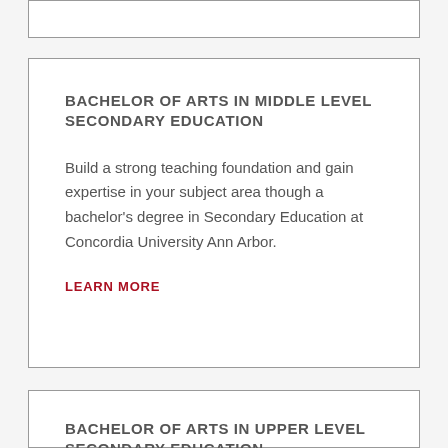BACHELOR OF ARTS IN MIDDLE LEVEL SECONDARY EDUCATION
Build a strong teaching foundation and gain expertise in your subject area though a bachelor's degree in Secondary Education at Concordia University Ann Arbor.
LEARN MORE
BACHELOR OF ARTS IN UPPER LEVEL SECONDARY EDUCATION
Build a strong teaching foundation and gain expertise...